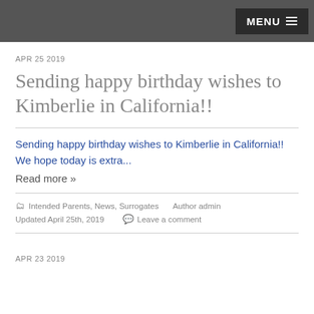MENU ≡
APR 25 2019
Sending happy birthday wishes to Kimberlie in California!!
Sending happy birthday wishes to Kimberlie in California!! We hope today is extra...
Read more »
Intended Parents, News, Surrogates   Author admin   Updated April 25th, 2019   Leave a comment
APR 23 2019